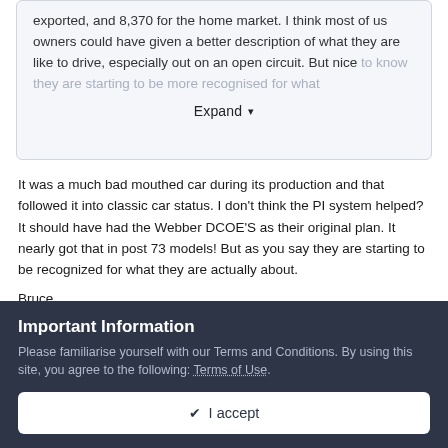exported, and 8,370 for the home market. I think most of us owners could have given a better description of what they are like to drive, especially out on an open circuit. But nice to know they are starting to be more recognised for what
Expand
It was a much bad mouthed car during its production and that followed it into classic car status. I don't think the PI system helped? It should have had the Webber DCOE'S as their original plan. It nearly got that in post 73 models! But as you say they are starting to be recognized for what they are actually about.
Bruce
Important Information
Please familiarise yourself with our Terms and Conditions. By using this site, you agree to the following: Terms of Use.
✔ I accept